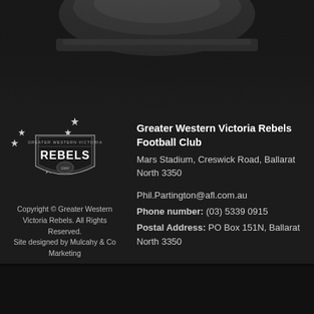[Figure (logo): Greater Western Victoria Rebels Football Club logo — shield with stars and text REBELS]
Copyright © Greater Western Victoria Rebels. All Rights Reserved.
Site designed by Mulcahy & Co Marketing
Greater Western Victoria Rebels Football Club
Mars Stadium, Creswick Road, Ballarat North 3350
Phil.Partington@afl.com.au
Phone number: (03) 5339 0915
Postal Address: PO Box 151N, Ballarat North 3350